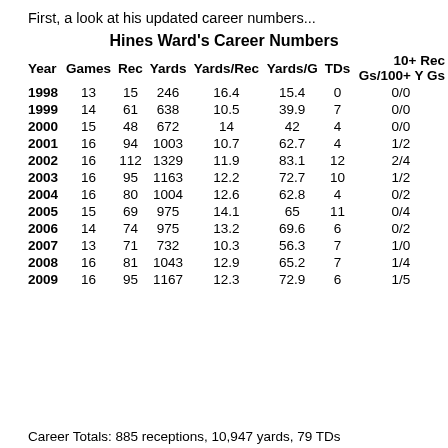First, a look at his updated career numbers...
Hines Ward's Career Numbers
| Year | Games | Rec | Yards | Yards/Rec | Yards/G | TDs | 10+ Rec Gs/100+ Y Gs |
| --- | --- | --- | --- | --- | --- | --- | --- |
| 1998 | 13 | 15 | 246 | 16.4 | 15.4 | 0 | 0/0 |
| 1999 | 14 | 61 | 638 | 10.5 | 39.9 | 7 | 0/0 |
| 2000 | 15 | 48 | 672 | 14 | 42 | 4 | 0/0 |
| 2001 | 16 | 94 | 1003 | 10.7 | 62.7 | 4 | 1/2 |
| 2002 | 16 | 112 | 1329 | 11.9 | 83.1 | 12 | 2/4 |
| 2003 | 16 | 95 | 1163 | 12.2 | 72.7 | 10 | 1/2 |
| 2004 | 16 | 80 | 1004 | 12.6 | 62.8 | 4 | 0/2 |
| 2005 | 15 | 69 | 975 | 14.1 | 65 | 11 | 0/4 |
| 2006 | 14 | 74 | 975 | 13.2 | 69.6 | 6 | 0/2 |
| 2007 | 13 | 71 | 732 | 10.3 | 56.3 | 7 | 1/0 |
| 2008 | 16 | 81 | 1043 | 12.9 | 65.2 | 7 | 1/4 |
| 2009 | 16 | 95 | 1167 | 12.3 | 72.9 | 6 | 1/5 |
Career Totals: 885 receptions, 10,947 yards, 79 TDs